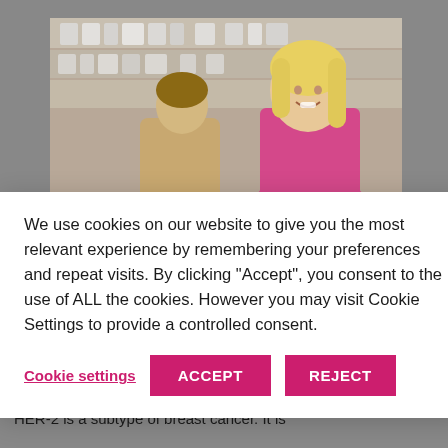[Figure (photo): Two women in a pharmacy or medical setting; one blonde adult woman in pink top smiling, one younger person with back turned; shelves with medical products visible in background.]
We use cookies on our website to give you the most relevant experience by remembering your preferences and repeat visits. By clicking “Accept”, you consent to the use of ALL the cookies. However you may visit Cookie Settings to provide a controlled consent.
Cookie settings   ACCEPT   REJECT
New clinical trial for HER2 breast cancer
Feb 16, 2022 | Research Updates
HER-2 is a subtype of breast cancer. It is